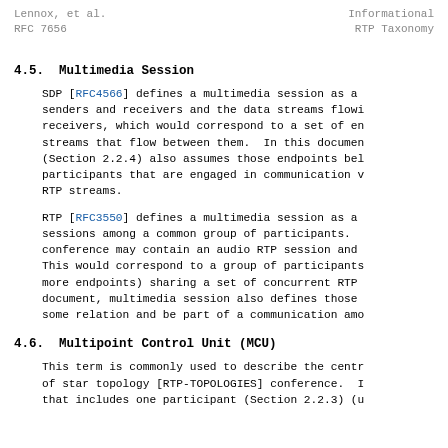Lennox, et al.                        Informational
RFC 7656                              RTP Taxonomy
4.5.  Multimedia Session
SDP [RFC4566] defines a multimedia session as a senders and receivers and the data streams flowi receivers, which would correspond to a set of en streams that flow between them.  In this documen (Section 2.2.4) also assumes those endpoints bel participants that are engaged in communication v RTP streams.
RTP [RFC3550] defines a multimedia session as a sessions among a common group of participants. conference may contain an audio RTP session and This would correspond to a group of participants more endpoints) sharing a set of concurrent RTP document, multimedia session also defines those some relation and be part of a communication amo
4.6.  Multipoint Control Unit (MCU)
This term is commonly used to describe the centr of star topology [RTP-TOPOLOGIES] conference.  I that includes one participant (Section 2.2.3) (u